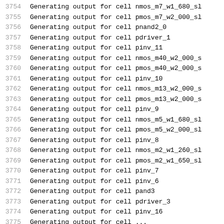3754    Generating output for cell nmos_m7_w1_680_sl
3755    Generating output for cell pmos_m7_w2_000_sl
3756    Generating output for cell pnand2_0
3757    Generating output for cell pdriver_1
3758    Generating output for cell pinv_11
3759    Generating output for cell nmos_m40_w2_000_s
3760    Generating output for cell pmos_m40_w2_000_s
3761    Generating output for cell pinv_10
3762    Generating output for cell nmos_m13_w2_000_s
3763    Generating output for cell pmos_m13_w2_000_s
3764    Generating output for cell pinv_9
3765    Generating output for cell nmos_m5_w1_680_sl
3766    Generating output for cell pmos_m5_w2_000_sl
3767    Generating output for cell pinv_8
3768    Generating output for cell nmos_m2_w1_260_sl
3769    Generating output for cell pmos_m2_w1_650_sl
3770    Generating output for cell pinv_7
3771    Generating output for cell pinv_6
3772    Generating output for cell pand3
3773    Generating output for cell pdriver_3
3774    Generating output for cell pinv_16
3775    Generating output for cell ...